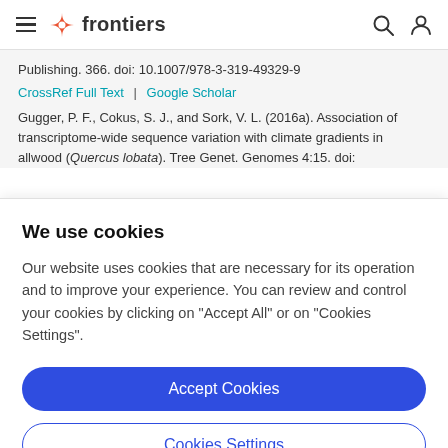frontiers
Publishing. 366. doi: 10.1007/978-3-319-49329-9
CrossRef Full Text | Google Scholar
Gugger, P. F., Cokus, S. J., and Sork, V. L. (2016a). Association of transcriptome-wide sequence variation with climate gradients in
We use cookies
Our website uses cookies that are necessary for its operation and to improve your experience. You can review and control your cookies by clicking on "Accept All" or on "Cookies Settings".
Accept Cookies
Cookies Settings